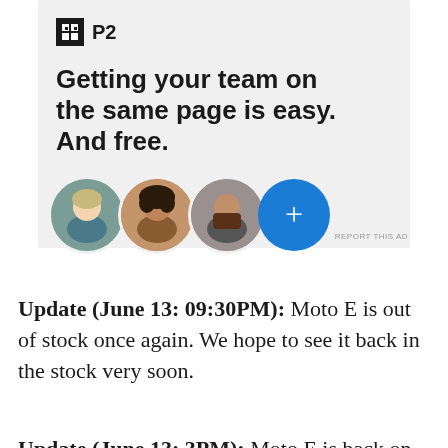[Figure (screenshot): P2 advertisement banner with logo, headline 'Getting your team on the same page is easy. And free.' and three circular profile photos plus a blue plus button]
Update (June 13: 09:30PM): Moto E is out of stock once again. We hope to see it back in the stock very soon.
Update (June 13: 3PM): Moto E is back on sale